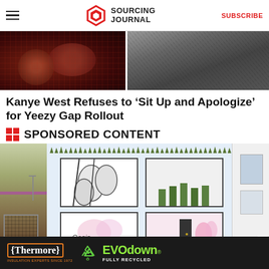Sourcing Journal | SUBSCRIBE
[Figure (photo): Split hero image: left side shows dark red/brown product with bokeh background; right side shows dark gray fabric or material texture]
Kanye West Refuses to ‘Sit Up and Apologize’ for Yeezy Gap Rollout
SPONSORED CONTENT
[Figure (photo): Architectural rendering of an Oasis retail store exterior showing a modern building facade with decorative window displays, plants on the roofline, and surrounding buildings. An X close button appears at the bottom right.]
[Figure (other): Thermore EVO down advertisement banner on dark background. Shows Thermore brand name in orange border, recycling icon, and EVO down product name in neon green with 'FULLY RECYCLED' subtitle.]